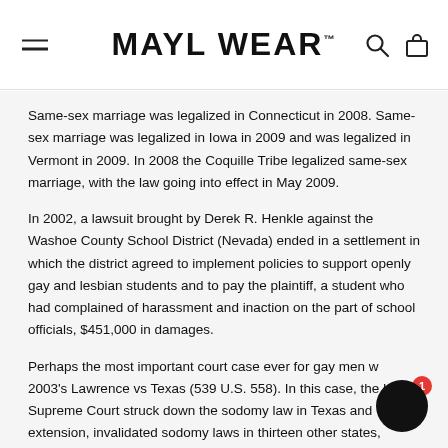MAYL WEAR
Same-sex marriage was legalized in Connecticut in 2008. Same-sex marriage was legalized in Iowa in 2009 and was legalized in Vermont in 2009. In 2008 the Coquille Tribe legalized same-sex marriage, with the law going into effect in May 2009.
In 2002, a lawsuit brought by Derek R. Henkle against the Washoe County School District (Nevada) ended in a settlement in which the district agreed to implement policies to support openly gay and lesbian students and to pay the plaintiff, a student who had complained of harassment and inaction on the part of school officials, $451,000 in damages.
Perhaps the most important court case ever for gay men was 2003's Lawrence vs Texas (539 U.S. 558). In this case, the U.S. Supreme Court struck down the sodomy law in Texas and, by extension, invalidated sodomy laws in thirteen other states, making same-sex activity legal in U.S. territory and...